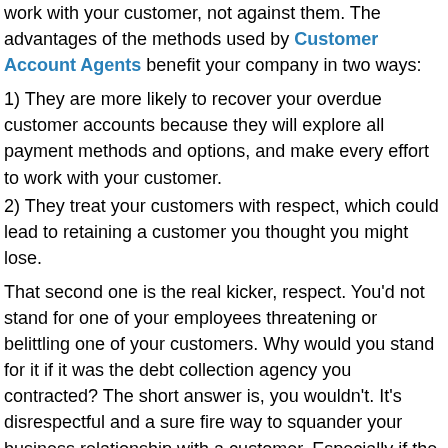work with your customer, not against them. The advantages of the methods used by Customer Account Agents benefit your company in two ways:
1) They are more likely to recover your overdue customer accounts because they will explore all payment methods and options, and make every effort to work with your customer.
2) They treat your customers with respect, which could lead to retaining a customer you thought you might lose.
That second one is the real kicker, respect. You'd not stand for one of your employees threatening or belittling one of your customers. Why would you stand for it if it was the debt collection agency you contracted? The short answer is, you wouldn't. It's disrespectful and a sure fire way to squander your business relationship with a customer. Especially if the account was overdue because of a petty dispute that could be resolved by simply talking it over.